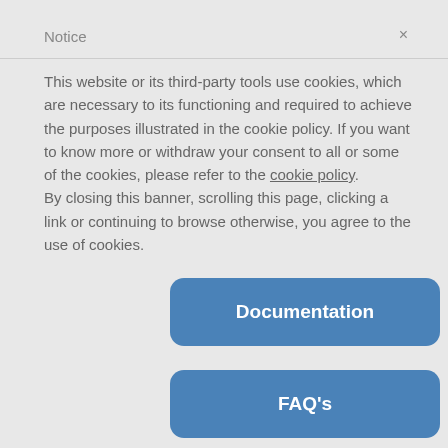Notice
This website or its third-party tools use cookies, which are necessary to its functioning and required to achieve the purposes illustrated in the cookie policy. If you want to know more or withdraw your consent to all or some of the cookies, please refer to the cookie policy.
By closing this banner, scrolling this page, clicking a link or continuing to browse otherwise, you agree to the use of cookies.
Documentation
FAQ's